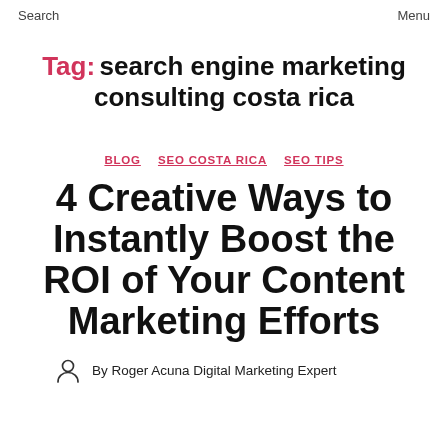Search   Menu
Tag: search engine marketing consulting costa rica
BLOG   SEO COSTA RICA   SEO TIPS
4 Creative Ways to Instantly Boost the ROI of Your Content Marketing Efforts
By Roger Acuna Digital Marketing Expert